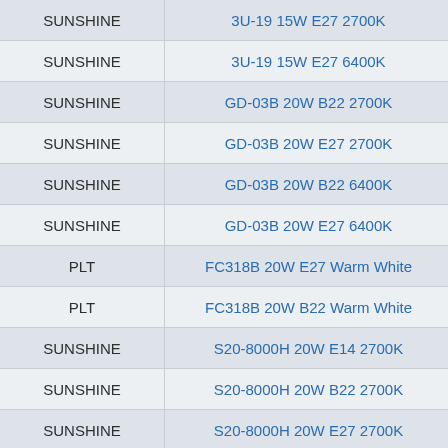| Brand | Product |
| --- | --- |
| SUNSHINE | 3U-19 15W E27 2700K |
| SUNSHINE | 3U-19 15W E27 6400K |
| SUNSHINE | GD-03B 20W B22 2700K |
| SUNSHINE | GD-03B 20W E27 2700K |
| SUNSHINE | GD-03B 20W B22 6400K |
| SUNSHINE | GD-03B 20W E27 6400K |
| PLT | FC318B 20W E27 Warm White |
| PLT | FC318B 20W B22 Warm White |
| SUNSHINE | S20-8000H 20W E14 2700K |
| SUNSHINE | S20-8000H 20W B22 2700K |
| SUNSHINE | S20-8000H 20W E27 2700K |